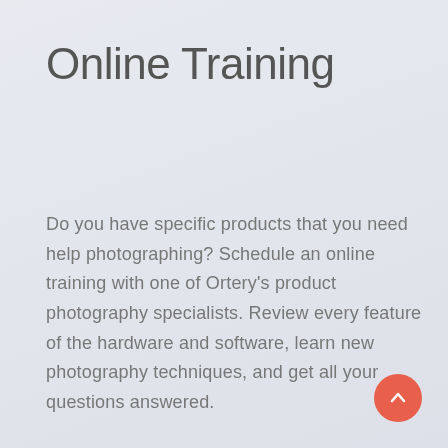Online Training
Do you have specific products that you need help photographing? Schedule an online training with one of Ortery's product photography specialists. Review every feature of the hardware and software, learn new photography techniques, and get all your questions answered.